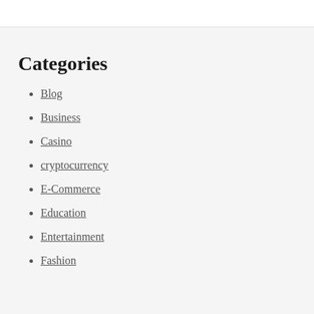Categories
Blog
Business
Casino
cryptocurrency
E-Commerce
Education
Entertainment
Fashion